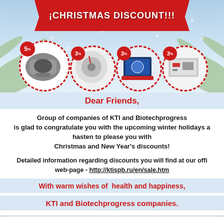[Figure (illustration): Christmas promotional banner with red ribbon showing 'CHRISTMAS DISCOUNT!!!' text, four product circles with discount badges (5%, 3%, 3%, 3%) on a winter/snow background with pine branches and snowflakes]
Dear Friends,
Group of companies of KTI and Biotechprogress is glad to congratulate you with the upcoming winter holidays and hasten to please you with Christmas and New Year's discounts!
Detailed information regarding discounts you will find at our official web-page - http://ktispb.ru/en/sale.htm
With warm wishes of  health and happiness,
KTI and Biotechprogress companies.